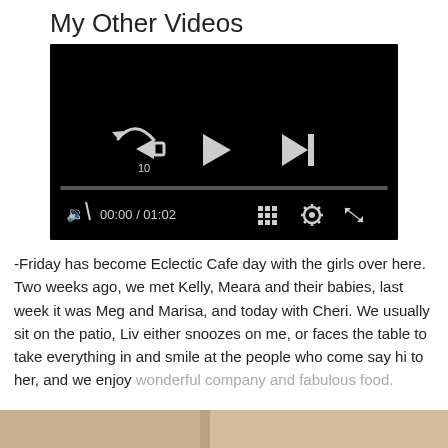My Other Videos
[Figure (screenshot): Embedded video player showing a black screen with playback controls: rewind 10s button, play button, skip-next button, a progress bar at 00:00 of 01:02, mute button, grid/chapters button, settings gear button, and fullscreen button.]
-Friday has become Eclectic Cafe day with the girls over here. Two weeks ago, we met Kelly, Meara and their babies, last week it was Meg and Marisa, and today with Cheri. We usually sit on the patio, Liv either snoozes on me, or faces the table to take everything in and smile at the people who come say hi to her, and we enjoy wonderful company and fabulous food.
[Figure (photo): Partial bottom image, cropped, showing what appears to be food or people at a cafe.]